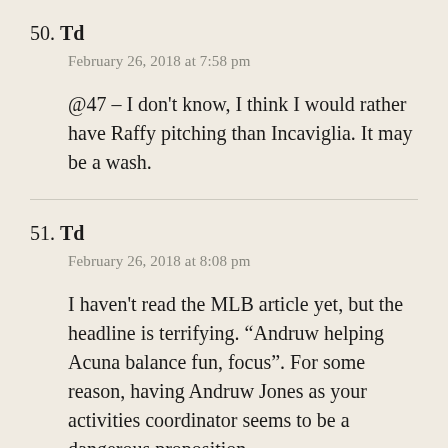50. Td
February 26, 2018 at 7:58 pm
@47 – I don't know, I think I would rather have Raffy pitching than Incaviglia. It may be a wash.
51. Td
February 26, 2018 at 8:08 pm
I haven't read the MLB article yet, but the headline is terrifying. “Andruw helping Acuna balance fun, focus”. For some reason, having Andruw Jones as your activities coordinator seems to be a dangerous proposition